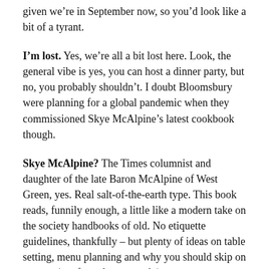given we're in September now, so you'd look like a bit of a tyrant.
I'm lost. Yes, we're all a bit lost here. Look, the general vibe is yes, you can host a dinner party, but no, you probably shouldn't. I doubt Bloomsbury were planning for a global pandemic when they commissioned Skye McAlpine's latest cookbook though.
Skye McAlpine? The Times columnist and daughter of the late Baron McAlpine of West Green, yes. Real salt-of-the-earth type. This book reads, funnily enough, a little like a modern take on the society handbooks of old. No etiquette guidelines, thankfully – but plenty of ideas on table setting, menu planning and why you should skip on starters (too formal, apparently).